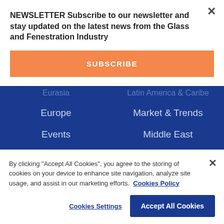NEWSLETTER Subscribe to our newsletter and stay updated on the latest news from the Glass and Fenestration Industry
SUBSCRIBE
Eurasia
Latin America & Caribe
Europe
Market & Trends
Events
Middle East
Facades, Building
North America
By clicking "Accept All Cookies", you agree to the storing of cookies on your device to enhance site navigation, analyze site usage, and assist in our marketing efforts. Cookies Policy
Cookies Settings
Accept All Cookies